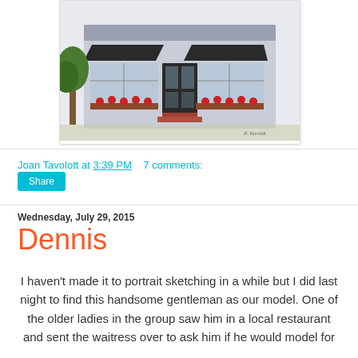[Figure (illustration): Watercolor illustration of a small shop/building facade with black awnings, flower boxes with red flowers, a dark front door with glass panels, and a tree on the left side. Artist signature visible at bottom right.]
Joan Tavolott at 3:39 PM   7 comments:
Share
Wednesday, July 29, 2015
Dennis
I haven't made it to portrait sketching in a while but I did last night to find this handsome gentleman as our model. One of the older ladies in the group saw him in a local restaurant and sent the waitress over to ask him if he would model for